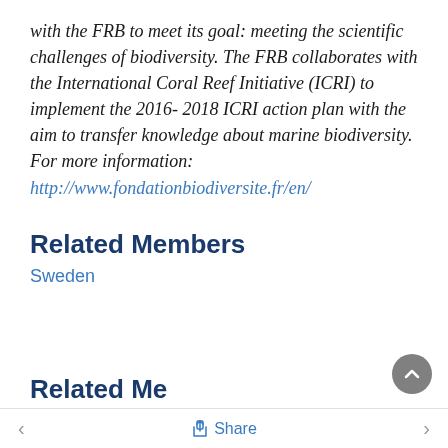with the FRB to meet its goal: meeting the scientific challenges of biodiversity. The FRB collaborates with the International Coral Reef Initiative (ICRI) to implement the 2016- 2018 ICRI action plan with the aim to transfer knowledge about marine biodiversity. For more information: http://www.fondationbiodiversite.fr/en/
Related Members
Sweden
Related Me...
< Share >